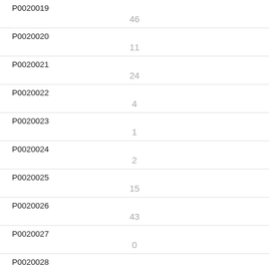| ID | Value |
| --- | --- |
| P0020019 | 46 |
| P0020020 | 11 |
| P0020021 | 24 |
| P0020022 | 4 |
| P0020023 | 1 |
| P0020024 | 2 |
| P0020025 | 15 |
| P0020026 | 43 |
| P0020027 | 0 |
| P0020028 | 88 |
| P0020029 |  |